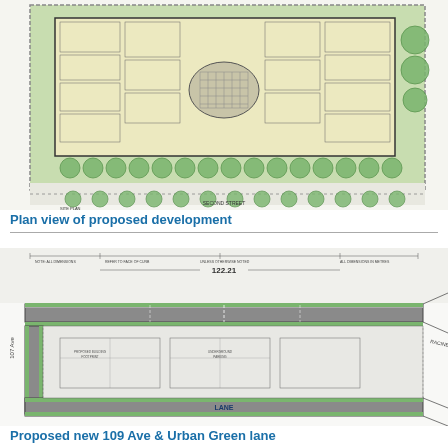[Figure (engineering-diagram): Plan view (top-down architectural drawing) of proposed building development showing floor layout with rooms, central courtyard/lobby, surrounding landscaping with circular trees along perimeter, parking areas, and street labels. Building footprint shown in yellow/cream with green landscaping elements.]
Plan view of proposed development
[Figure (engineering-diagram): Technical engineering drawing of proposed new 109 Ave and Urban Green lane showing road cross-section with lane markings, dimensions, green strips along edges, and surrounding street context. Shows '122.21' dimension label across road width. Labels include '107 Ave' on left side and 'RACINE RD' on right side, with 'LANE' label at bottom.]
Proposed new 109 Ave & Urban Green lane